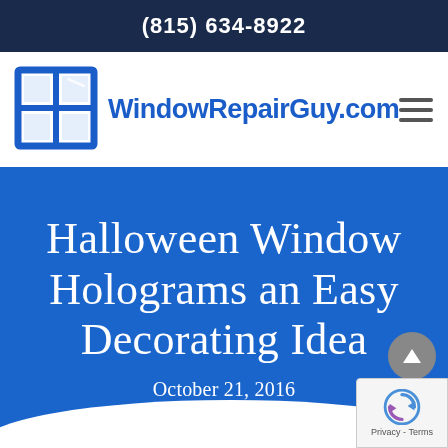(815) 634-8922
[Figure (logo): WindowRepairGuy.com logo with a blue window frame icon and blue text]
Halloween Window Holograms an Easy Decorating Idea
October 21, 2016